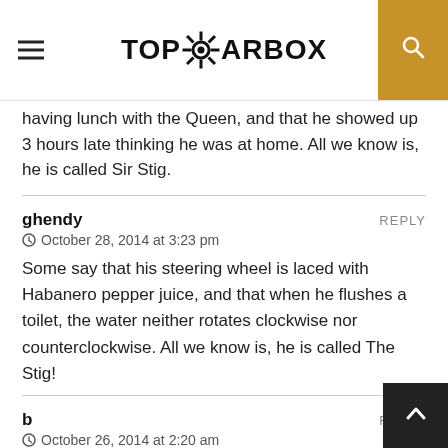TopGearBox
having lunch with the Queen, and that he showed up 3 hours late thinking he was at home. All we know is, he is called Sir Stig.
ghendy — REPLY
⊙ October 28, 2014 at 3:23 pm

Some say that his steering wheel is laced with Habanero pepper juice, and that when he flushes a toilet, the water neither rotates clockwise nor counterclockwise. All we know is, he is called The Stig!
b — REPLY
⊙ October 26, 2014 at 2:20 am

some say if you take off his hemet he's headless. and if you rip all of his clothes off he's prepared. all we know is